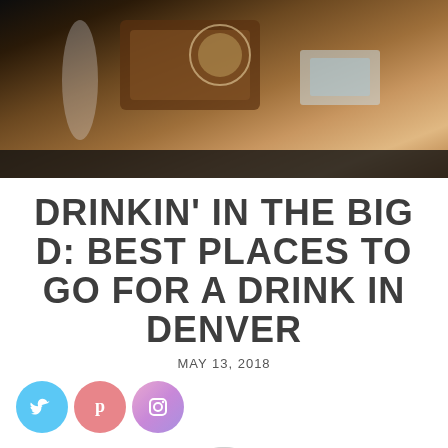[Figure (photo): Top photo showing drinks/bar items on a wooden table with dark background]
DRINKIN' IN THE BIG D: BEST PLACES TO GO FOR A DRINK IN DENVER
MAY 13, 2018
[Figure (illustration): Social media icons: Twitter (blue), Pinterest (pink/red), Instagram (purple gradient)]
[Figure (photo): Generic user avatar silhouette in a gray circle]
J.C. LIGHTCAP